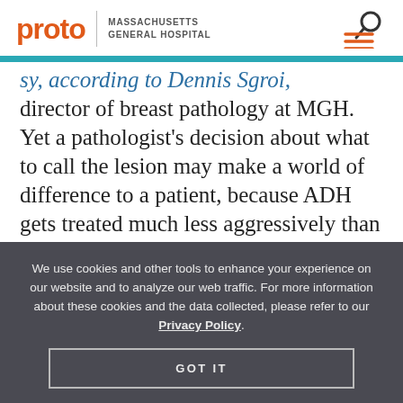proto | MASSACHUSETTS GENERAL HOSPITAL
sy, according to Dennis Sgroi, director of breast pathology at MGH. Yet a pathologist's decision about what to call the lesion may make a world of difference to a patient, because ADH gets treated much less aggressively than DCIS, which is handled pretty much like early stage breast cancer. The
We use cookies and other tools to enhance your experience on our website and to analyze our web traffic. For more information about these cookies and the data collected, please refer to our Privacy Policy.
GOT IT